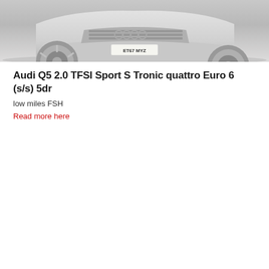[Figure (photo): Partial front/lower view of a silver Audi Q5 SUV, showing the front bumper, grille area, and wheel. UK registration plate ET67 MYZ visible. Light grey background.]
Audi Q5 2.0 TFSI Sport S Tronic quattro Euro 6 (s/s) 5dr
low miles FSH
Read more here